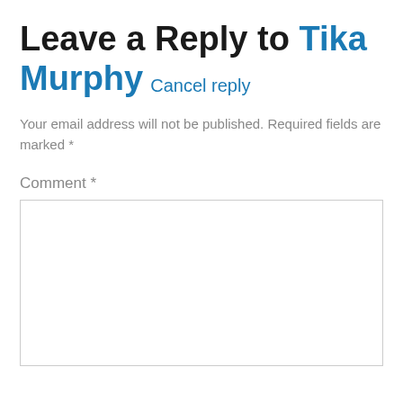Leave a Reply to Tika Murphy Cancel reply
Your email address will not be published. Required fields are marked *
Comment *